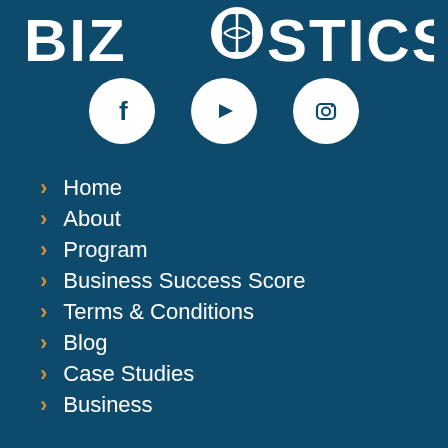[Figure (logo): BIZNOSTICS logo in white uppercase letters with a leaf/globe emblem replacing the 'O' in NOSTICS, on a dark blue background]
[Figure (infographic): Three white circular social media icons: Facebook (f logo), YouTube (play button), and Instagram (camera outline), centered horizontally on the dark blue background]
Home
About
Program
Business Success Score
Terms & Conditions
Blog
Case Studies
Business